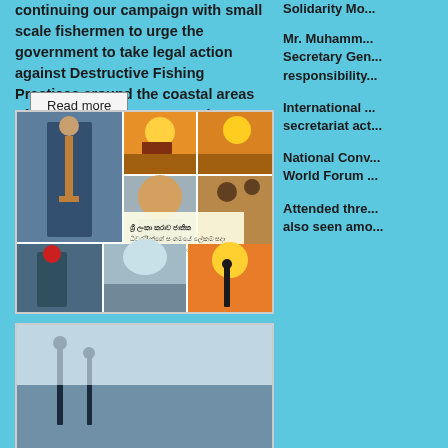continuing our campaign with small scale fishermen to urge the government to take legal action against Destructive Fishing Practices around the coastal areas of Sri Lanka. View my complete profile
Read more
[Figure (photo): Photo collage of fishermen, traditional stilt fishing in Sri Lanka, with Sinhala text overlay]
[Figure (photo): Partial view of another photo of fishermen/coastal scene]
Solidarity Mo...
Mr. Muhamm... Secretary Gen... responsibility...
International ... secretariat act...
National Conv... World Forum ...
Attended thre... also seen amo...
Newer Post